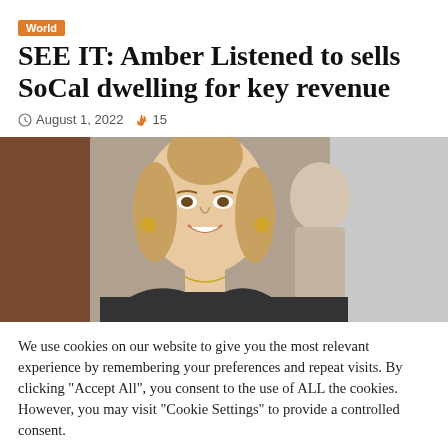World
SEE IT: Amber Listened to sells SoCal dwelling for key revenue
August 1, 2022  15
[Figure (photo): A smiling blonde woman with hair up in a bun, wearing a dark top, photographed indoors.]
We use cookies on our website to give you the most relevant experience by remembering your preferences and repeat visits. By clicking “Accept All”, you consent to the use of ALL the cookies. However, you may visit “Cookie Settings” to provide a controlled consent.
Cookie Settings   Accept All